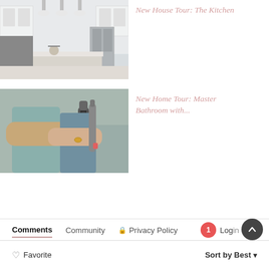[Figure (photo): Kitchen interior with white cabinets, marble island, pendant lights and stainless steel appliances]
New House Tour: The Kitchen
[Figure (photo): Person holding an electric toothbrush toward camera in bathroom setting]
New Home Tour: Master Bathroom with...
Comments   Community   🔒 Privacy Policy
1   Login
♡ Favorite   Sort by Best ▾